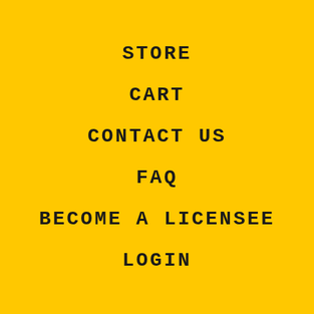STORE
CART
CONTACT US
FAQ
BECOME A LICENSEE
LOGIN